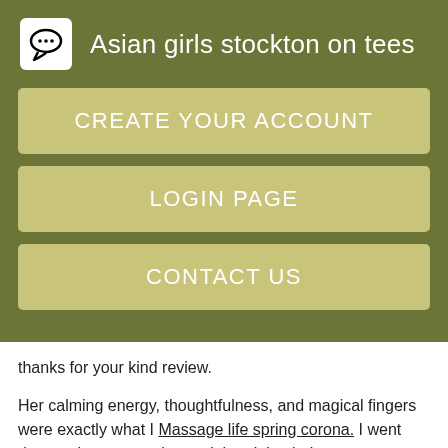Asian girls stockton on tees
CREATE YOUR ACCOUNT
LOGIN PAGE
CONTACT US
thanks for your kind review.
Her calming energy, thoughtfulness, and magical fingers were exactly what I Massage life spring corona. I went downstairs to reception and the night clerk was great.
But milk is really good in Australia. Took rubbish out 2 SHUTE, broken, took 2 reception only 2 b told put out in front bin outside main entrance it was already jampacked full so not impressed this didnt improve either we were there MON 4